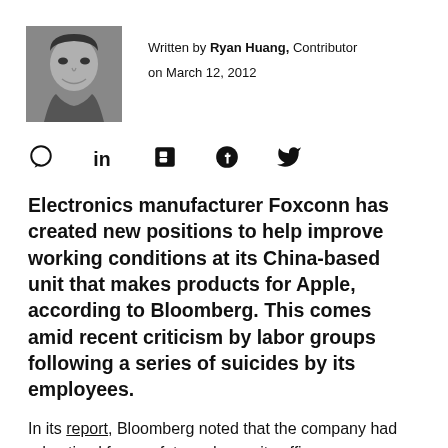[Figure (photo): Black and white headshot photo of Ryan Huang, a young Asian man smiling]
Written by Ryan Huang, Contributor
on March 12, 2012
[Figure (other): Social media sharing icons: comment/speech bubble, LinkedIn, Flipboard, Facebook, Twitter]
Electronics manufacturer Foxconn has created new positions to help improve working conditions at its China-based unit that makes products for Apple, according to Bloomberg. This comes amid recent criticism by labor groups following a series of suicides by its employees.
In its report, Bloomberg noted that the company had advertised for a safety and security officer a…